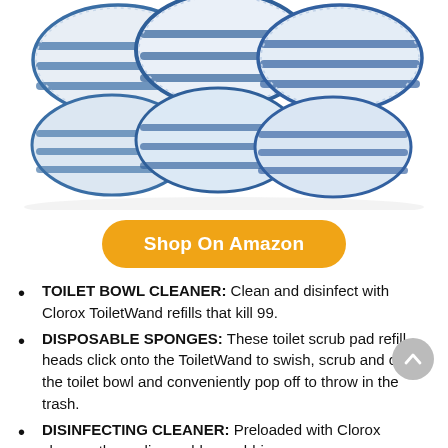[Figure (photo): Product photo showing multiple white and blue striped Clorox ToiletWand disposable scrub pad refill heads arranged in a group]
[Figure (other): Orange rounded button labeled 'Shop On Amazon']
TOILET BOWL CLEANER: Clean and disinfect with Clorox ToiletWand refills that kill 99.
DISPOSABLE SPONGES: These toilet scrub pad refill heads click onto the ToiletWand to swish, scrub and clean the toilet bowl and conveniently pop off to throw in the trash.
DISINFECTING CLEANER: Preloaded with Clorox cleaner, these disposable scrubbing